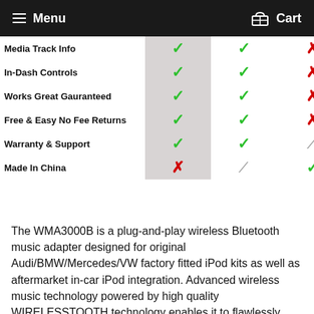Menu   Cart
|  | Col1 | Col2 | Col3 |
| --- | --- | --- | --- |
| Media Track Info | ✓ | ✓ | ✗ |
| In-Dash Controls | ✓ | ✓ | ✗ |
| Works Great Gauranteed | ✓ | ✓ | ✗ |
| Free & Easy No Fee Returns | ✓ | ✓ | ✗ |
| Warranty & Support | ✓ | ✓ | / |
| Made In China | ✗ | / | ✓ |
The WMA3000B is a plug-and-play wireless Bluetooth music adapter designed for original Audi/BMW/Mercedes/VW factory fitted iPod kits as well as aftermarket in-car iPod integration. Advanced wireless music technology powered by high quality WIRELESSTOOTH technology enables it to flawlessly communicate with Apple iPhone, iPod and iPad. Instead of manually plugging the iPod into the connector every time you enter the car, you instead connect our device via the built in iPod integration cable.Streams music from Android, Apple, and Windows devices. For your BMW 325i 2007 or any BMW or